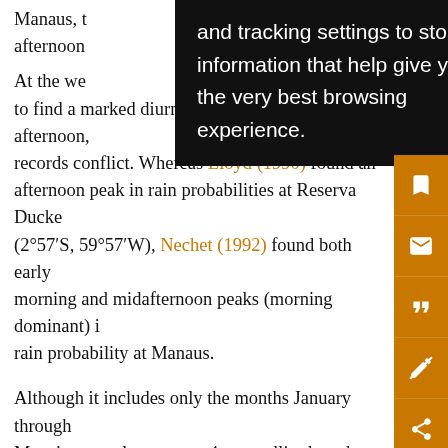Manaus, the afternoon [text partially obscured by popup]
[Figure (screenshot): Black popup overlay with white text reading: 'and tracking settings to store information that help give you the very best browsing experience.']
At the we[bsite] exp[ected] to find a marked diurnal cycle peaking in the afternoon, records conflict. Whereas Lloyd (1990) found an afternoon peak in rain probabilities at Reserva Ducke (2°57′S, 59°57′W), Nechet (1992) found both early morning and midafternoon peaks (morning dominant) in rain probability at Manaus.

Although it includes only the months January through May, in several respects a 4-yr satellite-based mapping of morning–evening convective rainfall difference (Negri et al. 1994) clarifies gauge observations of the diurnal cycle in corridor rainfall. First, the coastal axis of morning rains lies closer to the shore than the coastal axis of evening